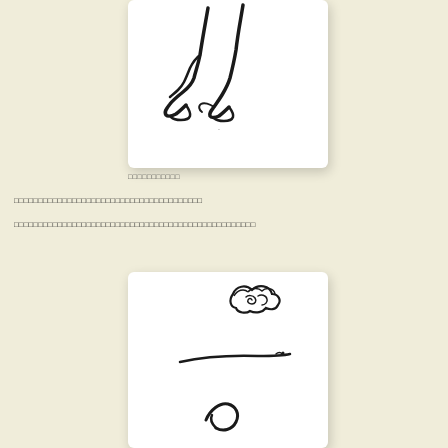[Figure (illustration): Hand-drawn ink sketch of two bird-like legs standing, rendered in black brush strokes on white background]
□□□□□□□□□□□
□□□□□□□□□□□□□□□□□□□□□□□□□□□□
□□□□□□□□□□□□□□□□□□□□□□□□□□□□□□□□□□□□□□□□
[Figure (illustration): Hand-drawn ink sketch showing a cloud shape at top, a curved brushstroke horizon line in middle, and a partial curved shape at bottom, on white background]